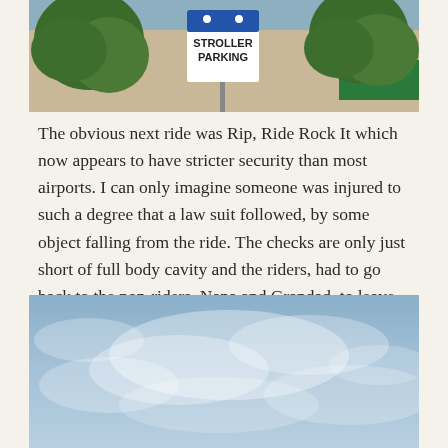[Figure (photo): Outdoor photo showing a 'Stroller Parking' sign with trees and a building in the background.]
The obvious next ride was Rip, Ride Rock It which now appears to have stricter security than most airports. I can only imagine someone was injured to such a degree that a law suit followed, by some object falling from the ride. The checks are only just short of full body cavity and the riders, had to go back to the non-riders, Nana and Grandad, to leave our glasses, hats, phones and most of our clothes with them.
[Figure (photo): Photo of a blue cloudy sky.]